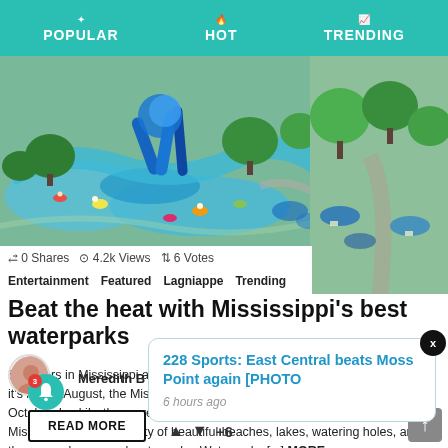POPULAR  HOT  TRENDING
[Figure (photo): Aerial view of a waterpark with blue water slides, lazy river, and surrounding trees]
0 Shares  4.2k Views  6 Votes
Entertainment  Featured  Lagniappe  Trending
Beat the heat with Mississippi's best waterparks
Summers in Mississippi are extra southern sometimes, aren't they?  Now that it's nearly August, the Mississippi heat is definitely here to stay...until at least October. Luckily, there are plenty of places to cool off in the Magnolia State. Mississippi offers a variety of beautiful beaches, lakes, watering holes, and there are also several waterparks. Waterparks [...] MORE
228 Sports: East Central beats Moss Point again [PHOTO
6 hours ago
Meredith B
READ MORE
+6